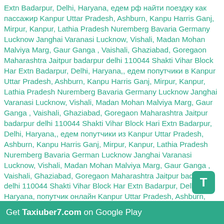Extn Badarpur, Delhi, Haryana, едем рф найти поездку как пассажир Kanpur Uttar Pradesh, Ashburn, Kanpu Harris Ganj, Mirpur, Kanpur, Lathia Pradesh Nuremberg Bavaria Germany Lucknow Janghai Varanasi Lucknow, Vishali, Madan Mohan Malviya Marg, Gaur Ganga , Vaishali, Ghaziabad, Goregaon Maharashtra Jaitpur badarpur delhi 110044 Shakti Vihar Block Hari Extn Badarpur, Delhi, Haryana,, едем попутчики в Kanpur Uttar Pradesh, Ashburn, Kanpu Harris Ganj, Mirpur, Kanpur, Lathia Pradesh Nuremberg Bavaria Germany Lucknow Janghai Varanasi Lucknow, Vishali, Madan Mohan Malviya Marg, Gaur Ganga , Vaishali, Ghaziabad, Goregaon Maharashtra Jaitpur badarpur delhi 110044 Shakti Vihar Block Hari Extn Badarpur, Delhi, Haryana,, едем попутчики из Kanpur Uttar Pradesh, Ashburn, Kanpu Harris Ganj, Mirpur, Kanpur, Lathia Pradesh Nuremberg Bavaria Germany Lucknow Janghai Varanasi Lucknow, Vishali, Madan Mohan Malviya Marg, Gaur Ganga , Vaishali, Ghaziabad, Goregaon Maharashtra Jaitpur badarpur delhi 110044 Shakti Vihar Block Hari Extn Badarpur, Delhi, Haryana, попутчик онлайн Kanpur Uttar Pradesh, Ashburn, Kanpu Harris Ganj, Mirpur, Kanpur, Lathia Pradesh Nuremberg Bavaria Germany Lucknow Janghai Varanasi Lucknow, Vishali, Madan Mohan Malviya Marg, Gaur Ganga , Vaishali, Ghaziabad, Goregaon Maharashtra Jaitpur badarpur delhi 110044 Shakti Vihar Block Hari Extn Badarpur, Delhi, Haryana, бл Kanpur Uttar Pradesh, Ashburn, Kanpu Harris Ganj, Mirpur, Kanpur, Lathia Pradesh Nuremberg Bavaria Germany Lucknow
Get Taxiuber7.com on Google Play